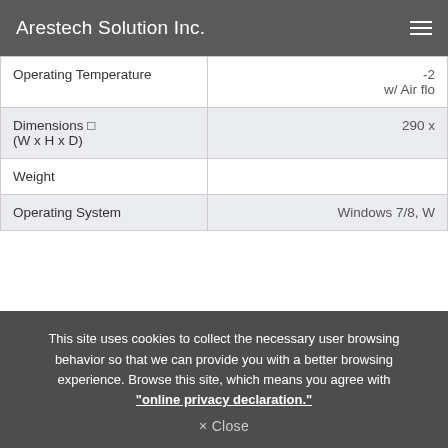Arestech Solution Inc.
| Property | Value |
| --- | --- |
| Operating Temperature | -2
w/ Air flo |
| Dimensions □
(W x H x D) | 290 x |
| Weight |  |
| Operating System | Windows 7/8, W |
This site uses cookies to collect the necessary user browsing behavior so that we can provide you with a better browsing experience. Browse this site, which means you agree with "online privacy declaration."
× Close